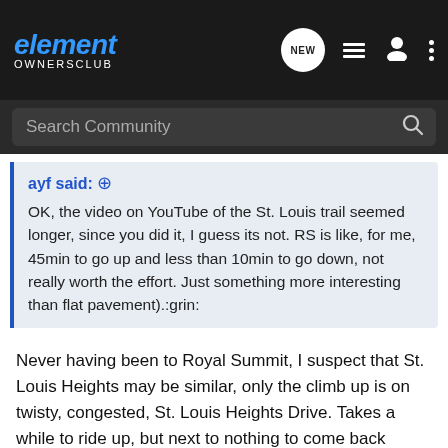element OWNERSCLUB
Search Community
ayf said: ↑
OK, the video on YouTube of the St. Louis trail seemed longer, since you did it, I guess its not. RS is like, for me, 45min to go up and less than 10min to go down, not really worth the effort. Just something more interesting than flat pavement).:grin:
Never having been to Royal Summit, I suspect that St. Louis Heights may be similar, only the climb up is on twisty, congested, St. Louis Heights Drive. Takes a while to ride up, but next to nothing to come back down.
Another place worth mentioning (although it's hilly) is Kuliouou Valley to Hahaione Valley out in Hawaii Kai. Essentially, you start in Kuliouou and ride/walk up a series of switchbacks to an area set up with picnic tables. The trail beyond this point is unrideable and continues on to the summit of the Ko`olau.